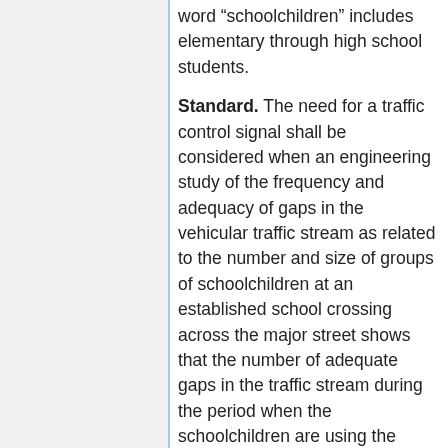word “schoolchildren” includes elementary through high school students.
Standard. The need for a traffic control signal shall be considered when an engineering study of the frequency and adequacy of gaps in the vehicular traffic stream as related to the number and size of groups of schoolchildren at an established school crossing across the major street shows that the number of adequate gaps in the traffic stream during the period when the schoolchildren are using the crossing is less than the number of minutes in the same period (see MUTCD Section 7A.03) and there are a minimum of 20 schoolchildren during the highest crossing hour.
Before a decision is made to install a